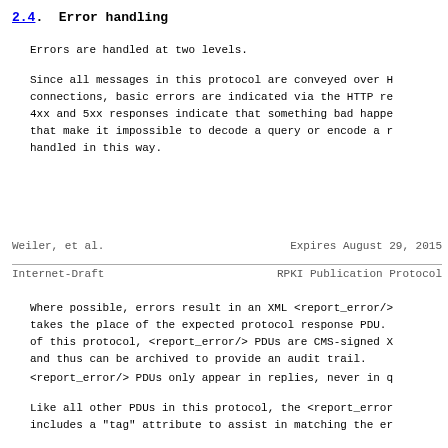2.4.  Error handling
Errors are handled at two levels.
Since all messages in this protocol are conveyed over H connections, basic errors are indicated via the HTTP re 4xx and 5xx responses indicate that something bad happe that make it impossible to decode a query or encode a r handled in this way.
Weiler, et al.                    Expires August 29, 2015
Internet-Draft              RPKI Publication Protocol
Where possible, errors result in an XML <report_error/> takes the place of the expected protocol response PDU. of this protocol, <report_error/> PDUs are CMS-signed X and thus can be archived to provide an audit trail.
<report_error/> PDUs only appear in replies, never in q
Like all other PDUs in this protocol, the <report_error includes a "tag" attribute to assist in matching the er